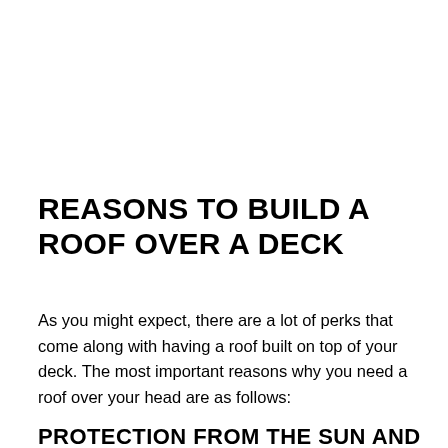REASONS TO BUILD A ROOF OVER A DECK
As you might expect, there are a lot of perks that come along with having a roof built on top of your deck. The most important reasons why you need a roof over your head are as follows:
PROTECTION FROM THE SUN AND